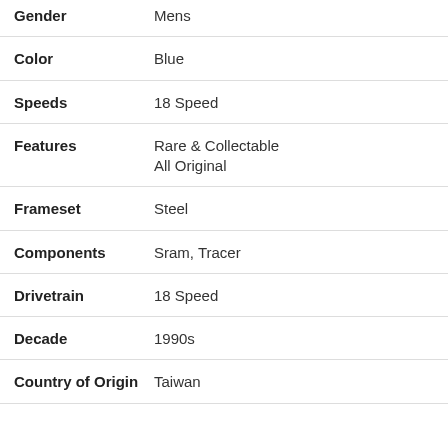| Attribute | Value |
| --- | --- |
| Gender | Mens |
| Color | Blue |
| Speeds | 18 Speed |
| Features | Rare & Collectable
All Original |
| Frameset | Steel |
| Components | Sram, Tracer |
| Drivetrain | 18 Speed |
| Decade | 1990s |
| Country of Origin | Taiwan |